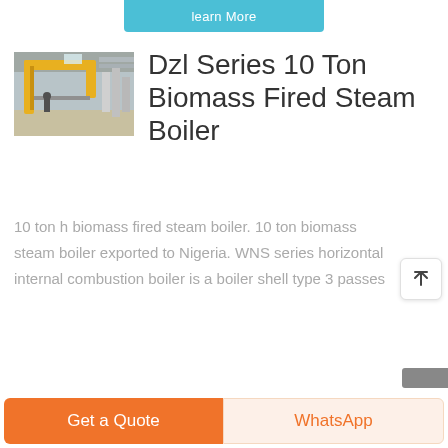learn More
[Figure (photo): Industrial boiler facility interior with yellow crane/hoist structure and metal pipes]
Dzl Series 10 Ton Biomass Fired Steam Boiler
10 ton h biomass fired steam boiler. 10 ton biomass steam boiler exported to Nigeria. WNS series horizontal internal combustion boiler is a boiler shell type 3 passes
Get a Quote
WhatsApp